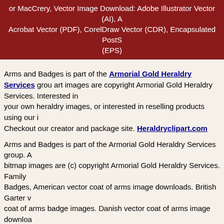or MacCrery, Vector Image Download: Adobe Illustrator Vector (AI), Acrobat Vector (PDF), CorelDraw Vector (CDR), Encapsulated PostScript (EPS)
Arms and Badges is part of the Armorial Gold Heraldry Services group. All art images are copyright Armorial Gold Heraldry Services. Interested in making your own heraldry images, or interested in reselling products using our images? Checkout our creator and package site. Heraldryclipart.com
Arms and Badges is part of the Armorial Gold Heraldry Services group. All bitmap images are (c) copyright Armorial Gold Heraldry Services. Family Badges, American vector coat of arms image downloads. British Garter vector coat of arms badge images. Danish vector coat of arms image downloads. English vector coat of arms image downloads. French vector coat of arms image downloads. German Das Wappen vector coat of arms image downloads. Irish vector coat of arms image downloads. Irish vector coat of arms badge images. Italian vector coat of arms image downloads. Norwegian vector coat of arms image downloads. Polish vector coat of arms image downloads. Portuguese vector coat of arms image downloads. Scottish vector coat of arms image downloads. Scottish bookplates vector coat of arms image downloads. Spanish vector coat of arms image downloads. Swedish vector coat of arms image downloads. Swiss vector coat of arms image downloads. Welsh vector coat of arms image downloads. Knighthood order vector badge and award images. United Stated - State Seal vector images. and other specialty arms images.
Copyright and Policy Information